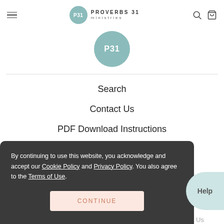P31 PROVERBS 31 ministries — navigation bar with logo, search, and bag icons
[Figure (logo): Proverbs 31 Ministries circular P31 logo in teal/sage green]
Search
Contact Us
PDF Download Instructions
Returns/Refunds
Shipping Information
By continuing to use this website, you acknowledge and accept our Cookie Policy and Privacy Policy. You also agree to the Terms of Use.
CONTINUE
Daily Devotion